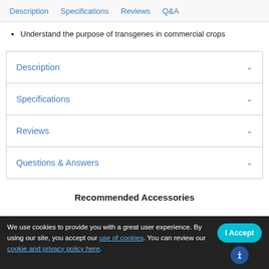Description | Specifications | Reviews | Q&A
Understand the purpose of transgenes in commercial crops
Description (accordion item)
Specifications (accordion item)
Reviews (accordion item)
Questions & Answers (accordion item)
Recommended Accessories
We use cookies to provide you with a great user experience. By using our site, you accept our use of cookies. You can review our cookie and privacy policy here.